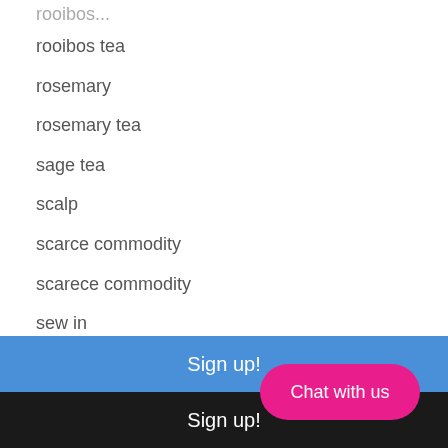rooibos tea
rosemary
rosemary tea
sage tea
scalp
scarce commodity
scarece commodity
sew in
shea moisture
shedding
Sign up!
Sign up!
Chat with us